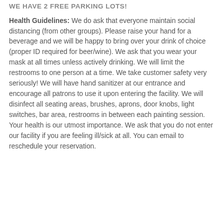WE HAVE 2 FREE PARKING LOTS!
Health Guidelines: We do ask that everyone maintain social distancing (from other groups). Please raise your hand for a beverage and we will be happy to bring over your drink of choice (proper ID required for beer/wine). We ask that you wear your mask at all times unless actively drinking. We will limit the restrooms to one person at a time. We take customer safety very seriously! We will have hand sanitizer at our entrance and encourage all patrons to use it upon entering the facility. We will disinfect all seating areas, brushes, aprons, door knobs, light switches, bar area, restrooms in between each painting session. Your health is our utmost importance. We ask that you do not enter our facility if you are feeling ill/sick at all. You can email to reschedule your reservation.